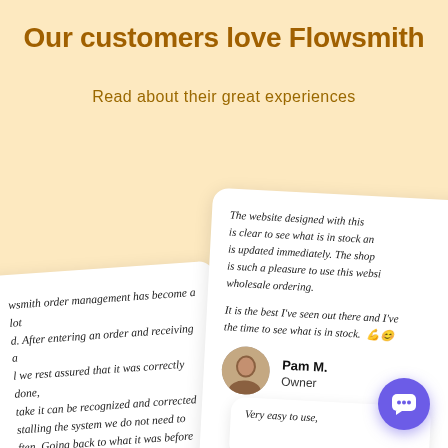Our customers love Flowsmith
Read about their great experiences
[Figure (illustration): Left testimonial card (rotated, partially cropped): text reads 'wsmith order management has become a lot [easier]. After entering an order and receiving a [confirmation] we rest assured that it was correctly done, [any mis]take can be recognized and corrected [by reins]talling the system we do not need to [worry o]ften. Going back to what it was before [would be a] step backwards. 😊💪']
[Figure (illustration): Right testimonial card (rotated, partially cropped) with reviewer info: text reads 'The website designed with this [tool] is clear to see what is in stock an[d] is updated immediately. The shop [front] is such a pleasure to use this websi[te] for wholesale ordering. It is the best I've seen out there and I've [taken] the time to see what is in stock. 💪😊' Reviewer: Pam M., Owner. Avatar photo of a woman.]
[Figure (illustration): Bottom partial testimonial card with text: 'Very easy to use...']
[Figure (illustration): Purple circular chat/support button in bottom-right corner with white chat bubble icon]